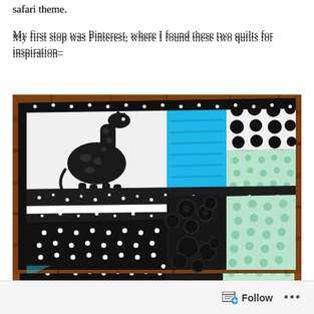safari theme.
My first stop was Pinterest, where I found these two quilts for inspiration–
[Figure (photo): A patchwork quilt with a safari/zoo theme featuring a black and white giraffe appliqué on a white background, blue minky fabric panels, black and white polka dot and floral fabric patches, teal dotted fabric, and black and white speckled fabric strips, laid out on a wooden floor.]
Follow   ...